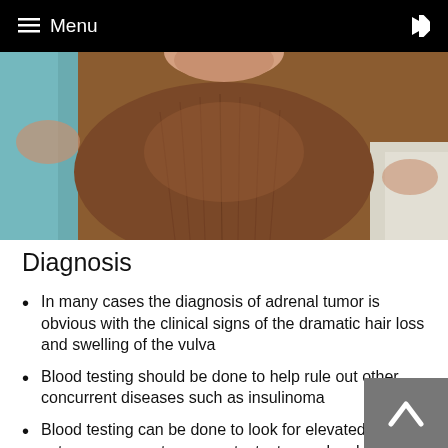≡ Menu
[Figure (photo): Close-up photo of an animal (ferret) showing brown/reddish fur, held by hands, with blue and white fabric visible on sides — illustrating hair loss or skin condition related to adrenal tumor]
Diagnosis
In many cases the diagnosis of adrenal tumor is obvious with the clinical signs of the dramatic hair loss and swelling of the vulva
Blood testing should be done to help rule out other concurrent diseases such as insulinoma
Blood testing can be done to look for elevated estrogen, progesterone, or testosterone levels